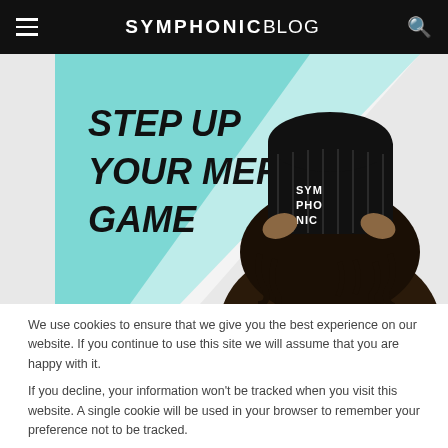SYMPHONIC BLOG
[Figure (photo): Promotional image with text 'STEP UP YOUR MERCH GAME' on a teal/cyan background alongside a person wearing a black Symphonic branded beanie hat, holding it up with curly hair visible.]
We use cookies to ensure that we give you the best experience on our website. If you continue to use this site we will assume that you are happy with it.
If you decline, your information won't be tracked when you visit this website. A single cookie will be used in your browser to remember your preference not to be tracked.
Allow cookies | Decline